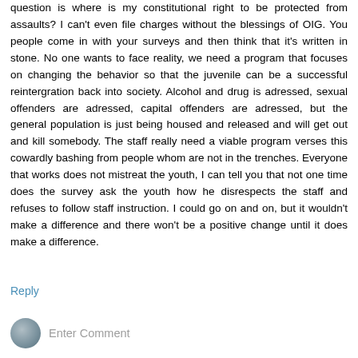question is where is my constitutional right to be protected from assaults? I can't even file charges without the blessings of OIG. You people come in with your surveys and then think that it's written in stone. No one wants to face reality, we need a program that focuses on changing the behavior so that the juvenile can be a successful reintergration back into society. Alcohol and drug is adressed, sexual offenders are adressed, capital offenders are adressed, but the general population is just being housed and released and will get out and kill somebody. The staff really need a viable program verses this cowardly bashing from people whom are not in the trenches. Everyone that works does not mistreat the youth, I can tell you that not one time does the survey ask the youth how he disrespects the staff and refuses to follow staff instruction. I could go on and on, but it wouldn't make a difference and there won't be a positive change until it does make a difference.
Reply
Enter Comment